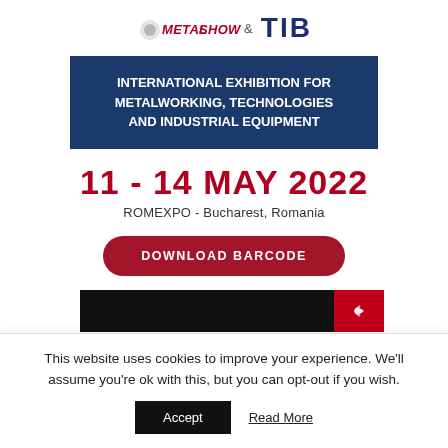[Figure (logo): MetalShow & TIB logo with gear icon, metalshow in red italic bold, TIB in dark blue bold large]
INTERNATIONAL EXHIBITION FOR METALWORKING, TECHNOLOGIES AND INDUSTRIAL EQUIPMENT
11 - 14 MAY 2022
ROMEXPO - Bucharest, Romania
DOWNLOAD BARCODE
[Figure (other): Partial bottom banner with black and red sections, white arrow/logo on red]
This website uses cookies to improve your experience. We'll assume you're ok with this, but you can opt-out if you wish.
Accept
Read More